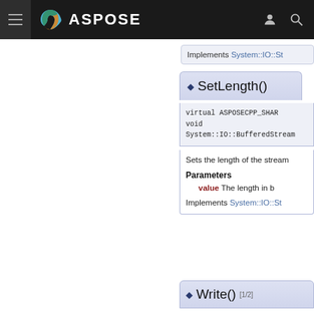ASPOSE (navigation bar)
Implements System::IO::St...
◆ SetLength()
virtual ASPOSECPP_SHAR...
void
System::IO::BufferedStream...
Sets the length of the stream...
Parameters
value The length in b...
Implements System::IO::St...
◆ Write() [1/2]